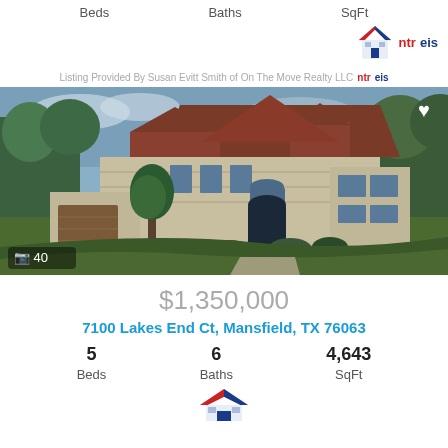Beds  Baths  SqFt
[Figure (logo): NTREIS logo - house icon with red white and blue colors and 'ntreis' text]
Listing Provided By Susan Evitt Smith of On The Move Realty LLC ntreis
[Figure (photo): Exterior photo of a luxury stone house with brown roof, trees, circular driveway, at dusk. Photo count: 40]
$1,350,000
7100 Lakes End Ct, Mansfield, TX 76063
5 Beds  6 Baths  4,643 SqFt
[Figure (logo): NTREIS logo - house icon with red white and blue colors]